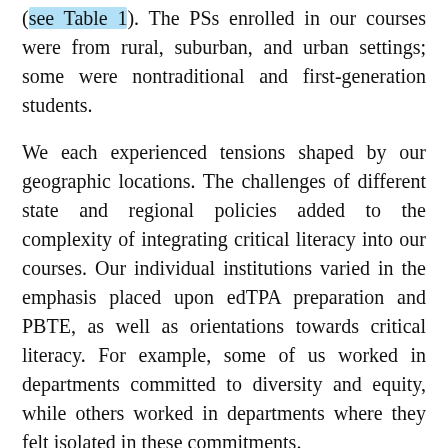(see Table 1). The PSs enrolled in our courses were from rural, suburban, and urban settings; some were nontraditional and first-generation students.
We each experienced tensions shaped by our geographic locations. The challenges of different state and regional policies added to the complexity of integrating critical literacy into our courses. Our individual institutions varied in the emphasis placed upon edTPA preparation and PBTE, as well as orientations towards critical literacy. For example, some of us worked in departments committed to diversity and equity, while others worked in departments where they felt isolated in these commitments.